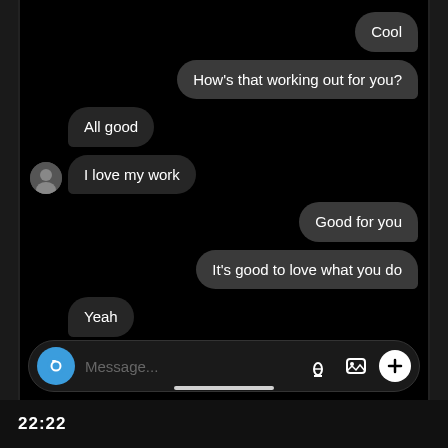Cool
How's that working out for you?
All good
I love my work
Good for you
It's good to love what you do
Yeah
Message...
22:22